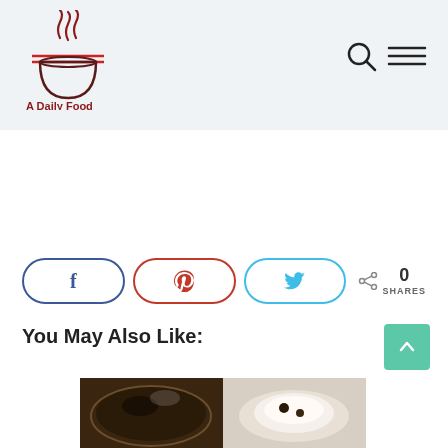A Daily Food
[Figure (logo): A Daily Food logo with steaming bowl and chopsticks icon, dark red color, text 'A Daily Food' below]
[Figure (infographic): Search icon (magnifying glass) and hamburger menu icon in top right of header]
[Figure (infographic): Social share buttons: Facebook (f), Pinterest (p), Twitter bird icon, and share count showing 0 SHARES]
You May Also Like:
[Figure (photo): Food photo showing a dark chocolate dessert/cake on the left and a white cream dish on the right]